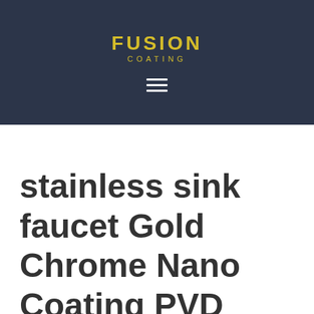FUSION COATING
stainless sink faucet Gold Chrome Nano Coating PVD Plasma Furniture Cutlery Hardware Surgical Coating Service in